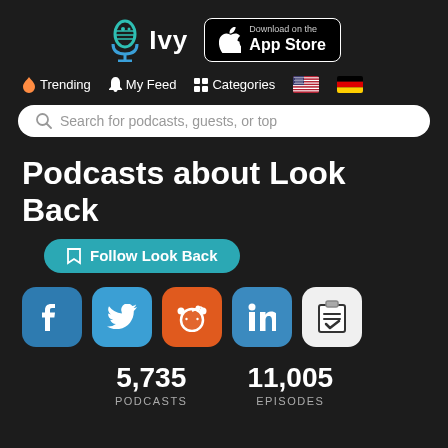[Figure (logo): Ivy podcast app logo with teal microphone icon and 'Ivy' text, plus Apple App Store download button]
Trending  My Feed  Categories
Search for podcasts, guests, or top
Podcasts about Look Back
Follow Look Back
[Figure (infographic): Social media share buttons: Facebook, Twitter, Reddit, LinkedIn, Clipboard/checklist]
5,735 PODCASTS
11,005 EPISODES